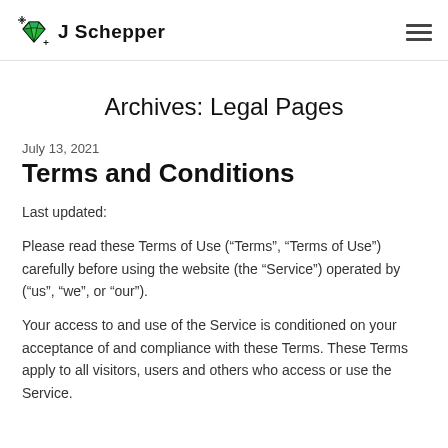J Schepper
Archives: Legal Pages
July 13, 2021
Terms and Conditions
Last updated:
Please read these Terms of Use (“Terms”, “Terms of Use”) carefully before using the website (the “Service”) operated by (“us”, “we”, or “our”).
Your access to and use of the Service is conditioned on your acceptance of and compliance with these Terms. These Terms apply to all visitors, users and others who access or use the Service.